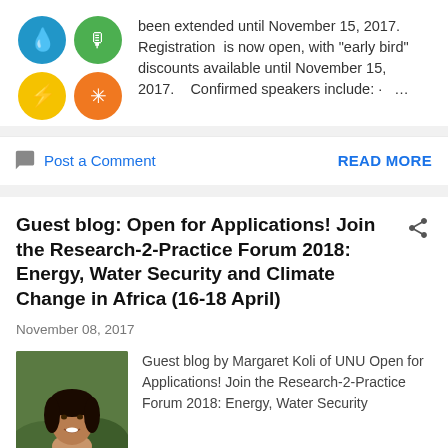[Figure (illustration): Four colored icon circles in a 2x2 grid: top-left blue water drop, top-right green microphone, bottom-left yellow lightning bolt, bottom-right orange snowflake/gear]
been extended until November 15, 2017. Registration is now open, with "early bird" discounts available until November 15, 2017.   Confirmed speakers include: ·  ...
Post a Comment
READ MORE
Guest blog: Open for Applications! Join the Research-2-Practice Forum 2018: Energy, Water Security and Climate Change in Africa (16-18 April)
November 08, 2017
[Figure (photo): Headshot photo of a woman (Margaret Koli) smiling, with green foliage background]
Guest blog by Margaret Koli of UNU Open for Applications! Join the Research-2-Practice Forum 2018: Energy, Water Security